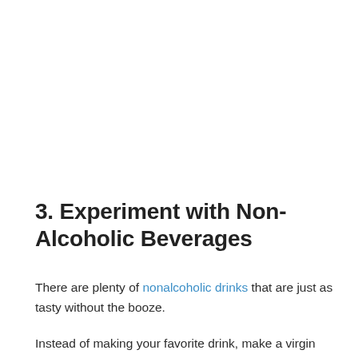3. Experiment with Non-Alcoholic Beverages
There are plenty of nonalcoholic drinks that are just as tasty without the booze.
Instead of making your favorite drink, make a virgin version, a nonalcoholic (NA) beer, or prepare some relaxing chamomile tea